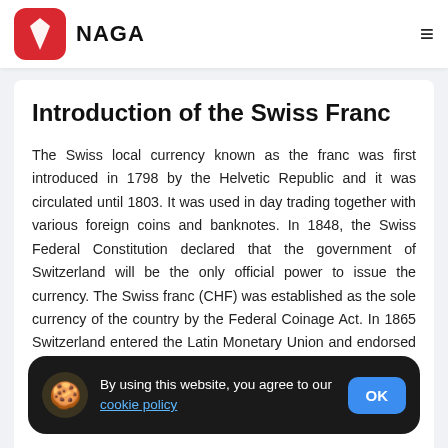NAGA
Introduction of the Swiss Franc
The Swiss local currency known as the franc was first introduced in 1798 by the Helvetic Republic and it was circulated until 1803. It was used in day trading together with various foreign coins and banknotes. In 1848, the Swiss Federal Constitution declared that the government of Switzerland will be the only official po[wer to issue] currency. [(CHF) was] of the country by the Federal Coinage Act. In 1865 Switzerland entered the Latin Monetary Union and endorsed the gold standard until
By using this website, you agree to our cookie policy